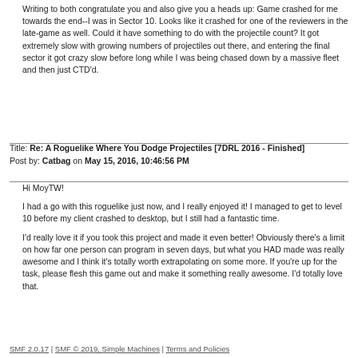Writing to both congratulate you and also give you a heads up: Game crashed for me towards the end--I was in Sector 10. Looks like it crashed for one of the reviewers in the late-game as well. Could it have something to do with the projectile count? It got extremely slow with growing numbers of projectiles out there, and entering the final sector it got crazy slow before long while I was being chased down by a massive fleet and then just CTD'd.
Title: Re: A Roguelike Where You Dodge Projectiles [7DRL 2016 - Finished]
Post by: Catbag on May 15, 2016, 10:46:56 PM
Hi MoyTW!

I had a go with this roguelike just now, and I really enjoyed it! I managed to get to level 10 before my client crashed to desktop, but I still had a fantastic time.

I'd really love it if you took this project and made it even better! Obviously there's a limit on how far one person can program in seven days, but what you HAD made was really awesome and I think it's totally worth extrapolating on some more. If you're up for the task, please flesh this game out and make it something really awesome. I'd totally love that.
SMF 2.0.17 | SMF © 2019, Simple Machines | Terms and Policies